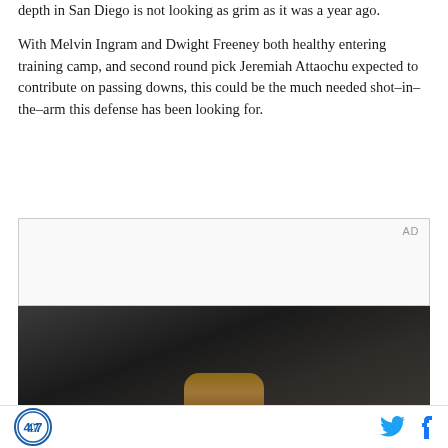depth in San Diego is not looking as grim as it was a year ago.
With Melvin Ingram and Dwight Freeney both healthy entering training camp, and second round pick Jeremiah Attaochu expected to contribute on passing downs, this could be the much needed shot–in–the–arm this defense has been looking for.
[Figure (other): Advertisement placeholder box with 'AD' label]
[Figure (photo): Dark photo showing interior of a car with a hand holding what appears to be a phone or device, taken from passenger perspective]
Site logo (circular badge) on the left; Twitter and Facebook social icons on the right